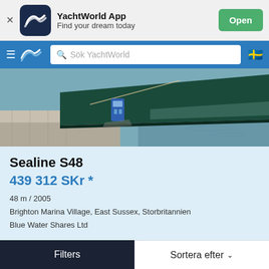[Figure (screenshot): YachtWorld App banner with dark blue icon showing wave logo, app name 'YachtWorld App', tagline 'Find your dream today', and green 'Open' button]
[Figure (screenshot): YachtWorld website navigation bar with hamburger menu, logo, search bar showing 'Sök YachtWorld', and Swedish flag icon]
[Figure (photo): Photo of a boat hull at a marina dock, dark green colored hull against water background with a blue electric charging station on the dock]
Sealine S48
439 312 SKr *
48 m / 2005
Brighton Marina Village, East Sussex, Storbritannien
Blue Water Shares Ltd
Begär info
Filters
Sortera efter